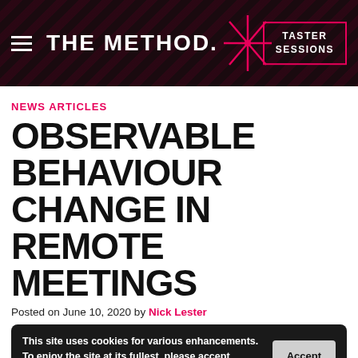THE METHOD. | TASTER SESSIONS
NEWS ARTICLES
OBSERVABLE BEHAVIOUR CHANGE IN REMOTE MEETINGS
Posted on June 10, 2020 by Nick Lester
This site uses cookies for various enhancements. To enjoy the site at its fullest, please accept cookies. (more information)
REMOTE WORKING IS RAPIDLY BECOMING